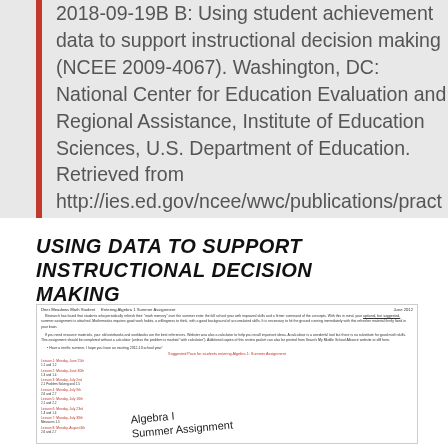2018-09-19B B: Using student achievement data to support instructional decision making (NCEE 2009-4067). Washington, DC: National Center for Education Evaluation and Regional Assistance, Institute of Education Sciences, U.S. Department of Education. Retrieved from http://ies.ed.gov/ncee/wwc/publications/pract
USING DATA TO SUPPORT INSTRUCTIONAL DECISION MAKING
[Figure (other): Thumbnail image of an Algebra I Summer Assignment document showing lesson schedule and assignment details with 'Algebra I Summer Assignment' text overlaid in handwritten style font.]